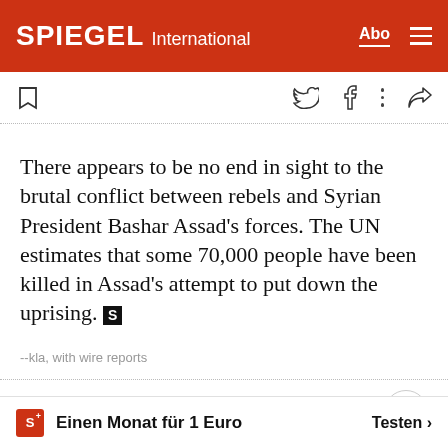SPIEGEL International
There appears to be no end in sight to the brutal conflict between rebels and Syrian President Bashar Assad's forces. The UN estimates that some 70,000 people have been killed in Assad's attempt to put down the uprising.
--kla, with wire reports
Feedback
Einen Monat für 1 Euro  Testen >